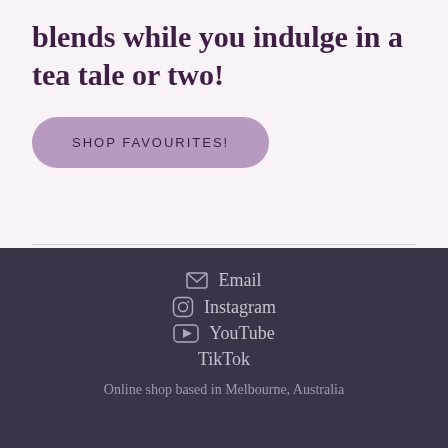blends while you indulge in a tea tale or two!
SHOP FAVOURITES!
Email  Instagram  YouTube  TikTok  Online shop based in Melbourne, Australia